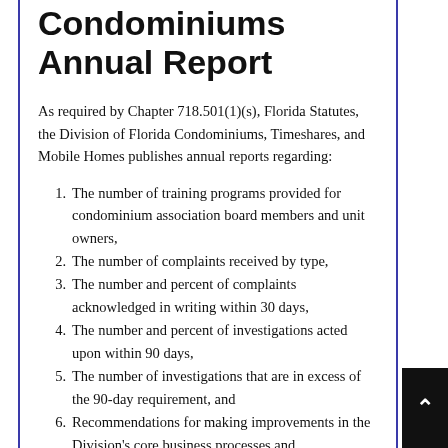Condominiums Annual Report
As required by Chapter 718.501(1)(s), Florida Statutes, the Division of Florida Condominiums, Timeshares, and Mobile Homes publishes annual reports regarding:
The number of training programs provided for condominium association board members and unit owners,
The number of complaints received by type,
The number and percent of complaints acknowledged in writing within 30 days,
The number and percent of investigations acted upon within 90 days,
The number of investigations that are in excess of the 90-day requirement, and
Recommendations for making improvements in the Division's core business processes and